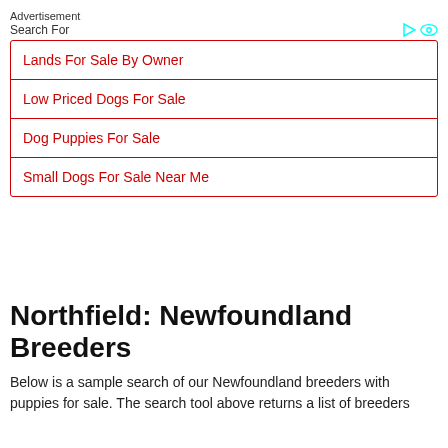Advertisement
Search For
Lands For Sale By Owner
Low Priced Dogs For Sale
Dog Puppies For Sale
Small Dogs For Sale Near Me
Northfield: Newfoundland Breeders
Below is a sample search of our Newfoundland breeders with puppies for sale. The search tool above returns a list of breeders